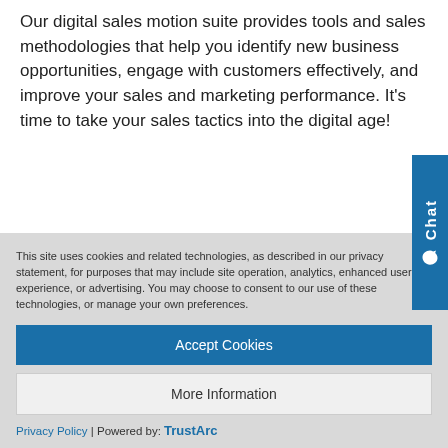Our digital sales motion suite provides tools and sales methodologies that help you identify new business opportunities, engage with customers effectively, and improve your sales and marketing performance. It's time to take your sales tactics into the digital age!
This site uses cookies and related technologies, as described in our privacy statement, for purposes that may include site operation, analytics, enhanced user experience, or advertising. You may choose to consent to our use of these technologies, or manage your own preferences.
Accept Cookies
More Information
Privacy Policy | Powered by: TrustArc